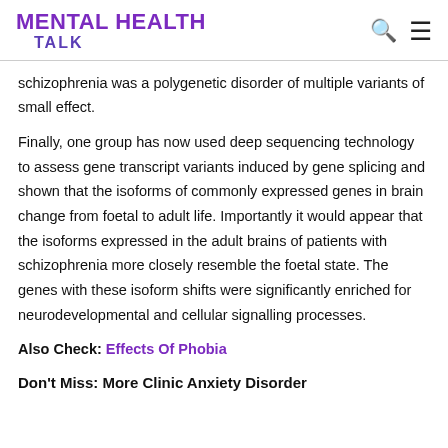MENTAL HEALTH TALK
schizophrenia was a polygenetic disorder of multiple variants of small effect.
Finally, one group has now used deep sequencing technology to assess gene transcript variants induced by gene splicing and shown that the isoforms of commonly expressed genes in brain change from foetal to adult life. Importantly it would appear that the isoforms expressed in the adult brains of patients with schizophrenia more closely resemble the foetal state. The genes with these isoform shifts were significantly enriched for neurodevelopmental and cellular signalling processes.
Also Check: Effects Of Phobia
Don't Miss: More Clinic Anxiety Disorder